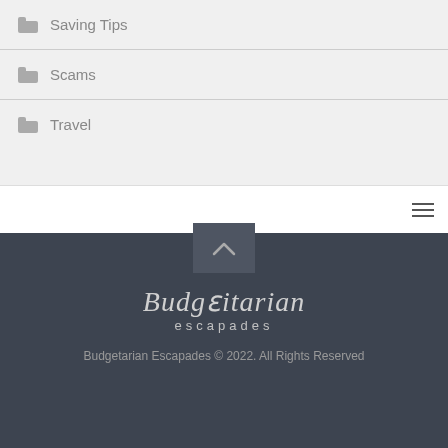Saving Tips
Scams
Travel
Budgetarian Escapades © 2022. All Rights Reserved